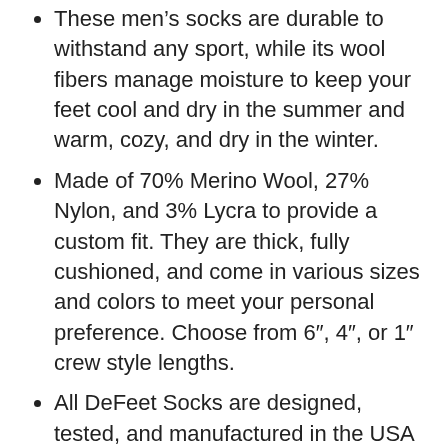These men's socks are durable to withstand any sport, while its wool fibers manage moisture to keep your feet cool and dry in the summer and warm, cozy, and dry in the winter.
Made of 70% Merino Wool, 27% Nylon, and 3% Lycra to provide a custom fit. They are thick, fully cushioned, and come in various sizes and colors to meet your personal preference. Choose from 6", 4", or 1″ crew style lengths.
All DeFeet Socks are designed, tested, and manufactured in the USA at our North Carolina headquarters. All yarns for our socks are sourced from domestic USA local suppliers. For best